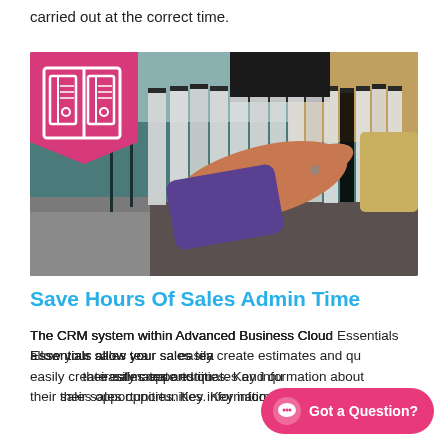carried out at the correct time.
[Figure (photo): Person searching through hanging file folders in a filing cabinet drawer, with a pink banner overlay containing a bookshelf/binder icon in the top-left corner of the image.]
Save Hours Of Sales Admin Time
The CRM system within Advanced Business Cloud Essentials allow your sales tea[m to] easily create estimates and qu[otes and manage] their sales opportunities. Key information about